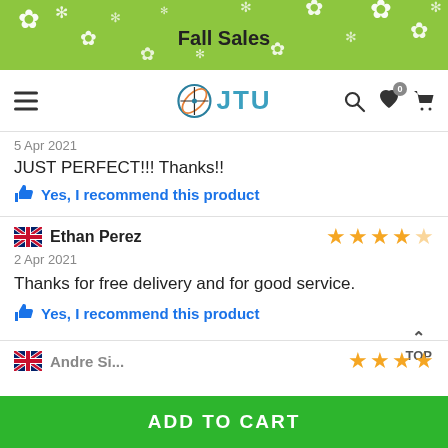[Figure (screenshot): Green promotional banner with white snowflake/flower decorations and bold text 'Fall Sales']
JTU — navigation bar with hamburger menu, logo, search, wishlist, and cart icons
5 Apr 2021
JUST PERFECT!!! Thanks!!
Yes, I recommend this product
Ethan Perez — 2 Apr 2021 — 4.5 stars
Thanks for free delivery and for good service.
Yes, I recommend this product
TOP
ADD TO CART